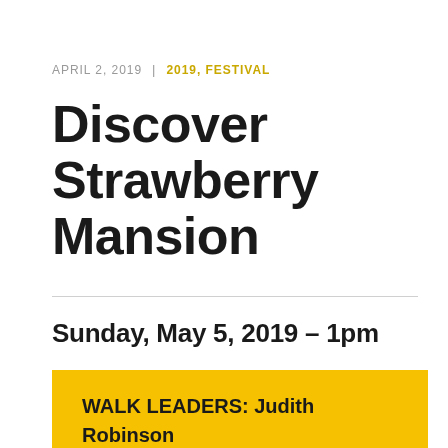APRIL 2, 2019  |  2019, FESTIVAL
Discover Strawberry Mansion
Sunday, May 5, 2019 – 1pm
WALK LEADERS: Judith Robinson and David W Feldman
MEETING PLACE: SE corner of 33rd and Oxford streets.